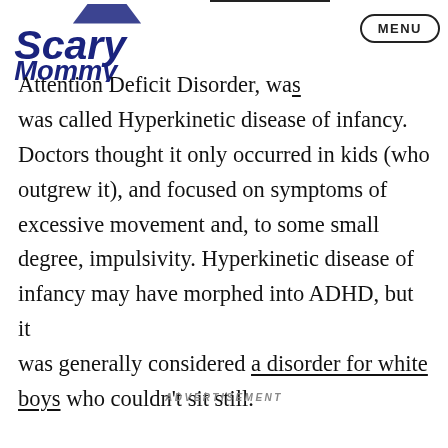Scary Mommy — MENU
Attention Deficit Disorder, was called Hyperkinetic disease of infancy. Doctors thought it only occurred in kids (who outgrew it), and focused on symptoms of excessive movement and, to some small degree, impulsivity. Hyperkinetic disease of infancy may have morphed into ADHD, but it was generally considered a disorder for white boys who couldn't sit still.
ADVERTISEMENT